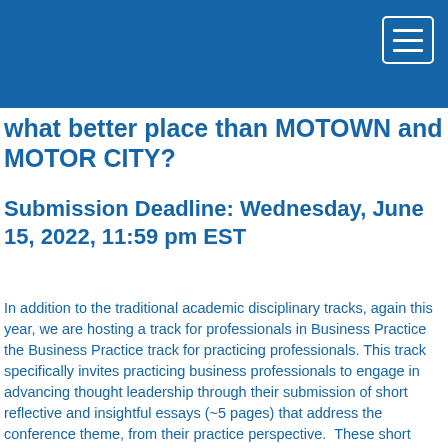[Figure (other): Blue header navigation bar with hamburger menu icon (three horizontal lines) in a white-bordered rectangle at the top right]
what better place than MOTOWN and MOTOR CITY?
Submission Deadline: Wednesday, June 15, 2022, 11:59 pm EST
In addition to the traditional academic disciplinary tracks, again this year, we are hosting a track for professionals in Business Practice the Business Practice track for practicing professionals. This track specifically invites practicing business professionals to engage in advancing thought leadership through their submission of short reflective and insightful essays (~5 pages) that address the conference theme, from their practice perspective.  These short essays could then turn into white papers, blog posts, LinkedIn articles, keynote speeches, podcast content, or practice-based scholarly publications. Practicing professionals in this track benefit from the dialog and feedback from